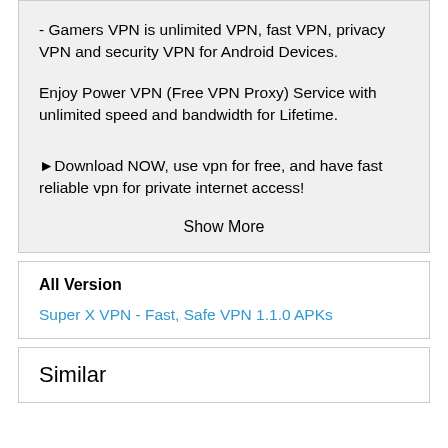- Gamers VPN is unlimited VPN, fast VPN, privacy VPN and security VPN for Android Devices.
Enjoy Power VPN (Free VPN Proxy) Service with unlimited speed and bandwidth for Lifetime.
►Download NOW, use vpn for free, and have fast reliable vpn for private internet access!
Show More
All Version
Super X VPN - Fast, Safe VPN 1.1.0 APKs
Similar